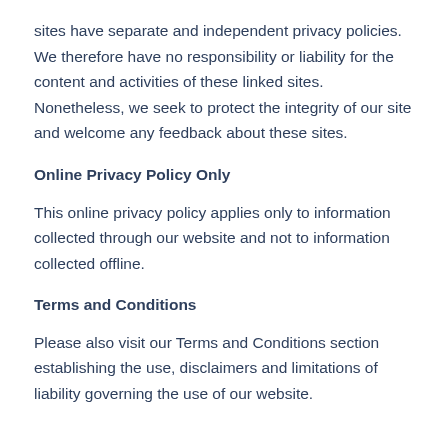sites have separate and independent privacy policies. We therefore have no responsibility or liability for the content and activities of these linked sites. Nonetheless, we seek to protect the integrity of our site and welcome any feedback about these sites.
Online Privacy Policy Only
This online privacy policy applies only to information collected through our website and not to information collected offline.
Terms and Conditions
Please also visit our Terms and Conditions section establishing the use, disclaimers and limitations of liability governing the use of our website.